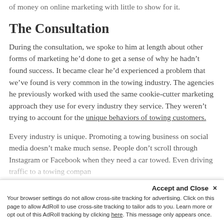of money on online marketing with little to show for it.
The Consultation
During the consultation, we spoke to him at length about other forms of marketing he’d done to get a sense of why he hadn’t found success. It became clear he’d experienced a problem that we’ve found is very common in the towing industry. The agencies he previously worked with used the same cookie-cutter marketing approach they use for every industry they service. They weren’t trying to account for the unique behaviors of towing customers.
Every industry is unique. Promoting a towing business on social media doesn’t make much sense. People don’t scroll through Instagram or Facebook when they need a car towed. Even driving traffic to a towing compan...
Accept and Close ×
Your browser settings do not allow cross-site tracking for advertising. Click on this page to allow AdRoll to use cross-site tracking to tailor ads to you. Learn more or opt out of this AdRoll tracking by clicking here. This message only appears once.